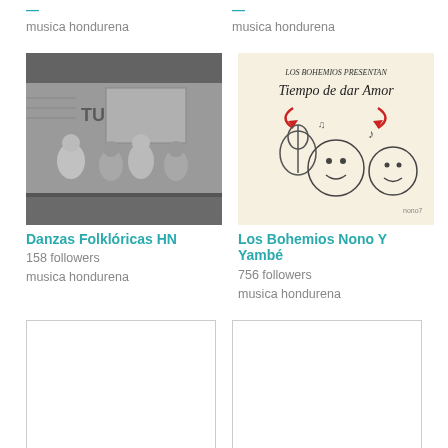followers
musica hondurena
followers
musica hondurena
[Figure (photo): Black and white photograph of folk dancers in traditional costumes sitting on what appears to be a float or vehicle, in front of a building with 'TUR' written on it.]
Danzas Folklóricas HN
158 followers
musica hondurena
[Figure (illustration): Hand-drawn album cover illustration for 'Los Bohemios presentan Tiempo de dar Amor' featuring cartoon-style faces and a guitar with red arrows.]
Los Bohemios Nono Y Yambé
756 followers
musica hondurena
[Figure (photo): Empty placeholder image box with border]
[Figure (photo): Empty placeholder image box with border]